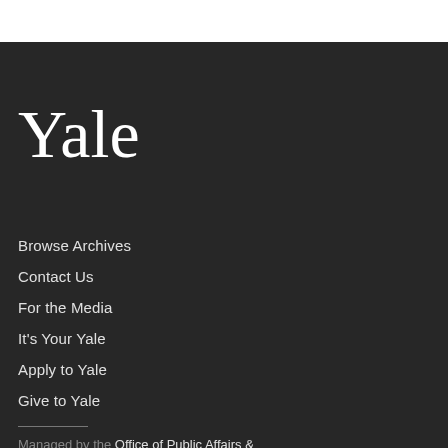Yale
Browse Archives
Contact Us
For the Media
It's Your Yale
Apply to Yale
Give to Yale
Managed by the Office of Public Affairs & Communications